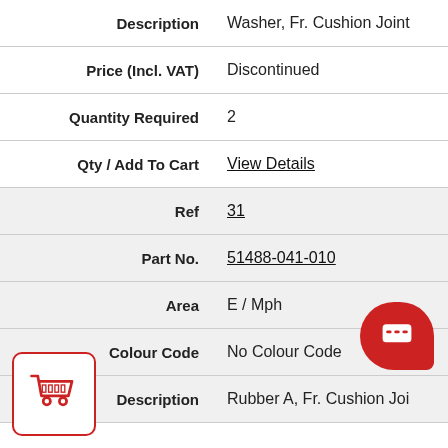| Description | Washer, Fr. Cushion Joint |
| Price (Incl. VAT) | Discontinued |
| Quantity Required | 2 |
| Qty / Add To Cart | View Details |
| Ref | 31 |
| Part No. | 51488-041-010 |
| Area | E / Mph |
| Colour Code | No Colour Code |
| Description | Rubber A, Fr. Cushion Joi |